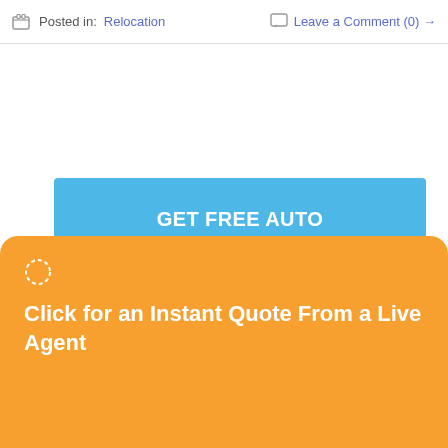Posted in: Relocation    Leave a Comment (0) →
GET FREE AUTO TRANSPORT TIPS
Subscribe to our mailing list and get transport tips and discounts to your inbox
Enter your email here
Click for an Instant Quote From a Live Agent